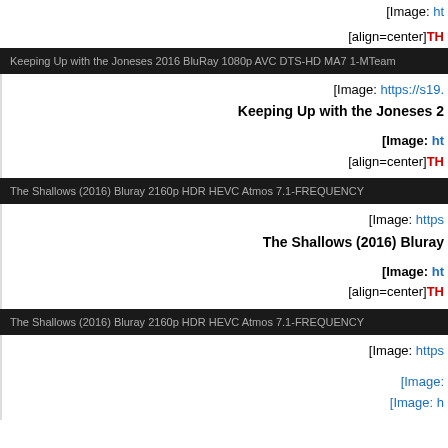[Image: https://s19...][align=center]TH...
Keeping Up with the Joneses 2016 BluRay 1080p AVC DTS-HD MA7 1-MTeam
[Image: https://s19.] Keeping Up with the Joneses 2 [Image: ht] [align=center]TH
The Shallows (2016) Bluray 2160p HDR HEVC Atmos 7.1-FREQUENCY
[Image: https] The Shallows (2016) Bluray [Image: ht] [align=center]TH
The Shallows (2016) Bluray 2160p HDR HEVC Atmos 7.1-FREQUENCY
[Image: https] [Image: ] [Image: h]